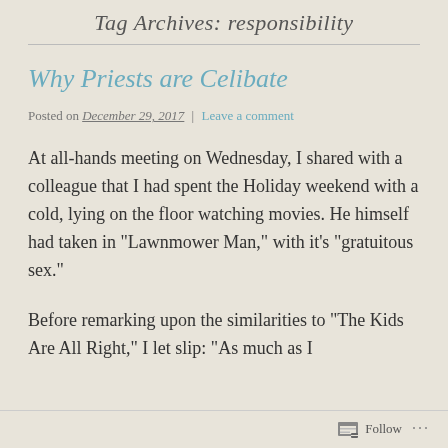Tag Archives: responsibility
Why Priests are Celibate
Posted on December 29, 2017 | Leave a comment
At all-hands meeting on Wednesday, I shared with a colleague that I had spent the Holiday weekend with a cold, lying on the floor watching movies. He himself had taken in “Lawnmower Man,” with it’s “gratuitous sex.”
Before remarking upon the similarities to “The Kids Are All Right,” I let slip: “As much as I
Follow ...